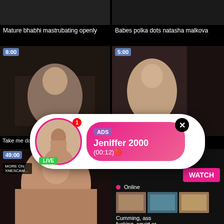[Figure (screenshot): Video thumbnail top left]
[Figure (screenshot): Video thumbnail top right]
Mature bhabhi mastrubating openly
Babes polka dots natasha malkova
[Figure (screenshot): Video thumbnail mid left with 8:00 badge]
[Figure (screenshot): Video thumbnail mid right with 5:00 badge]
[Figure (infographic): Ad popup overlay: LIVE profile Jeniffer 2000 (00:12)]
Take me daddy and step mom patron
Big tit wife torments white boy as she
[Figure (screenshot): Video thumbnail bottom left with 49:00 badge]
[Figure (infographic): Ad block: WHAT DO YOU WANT? WATCH button, Online, thumbnails, Cumming, ass fucking, squirt or... ADS]